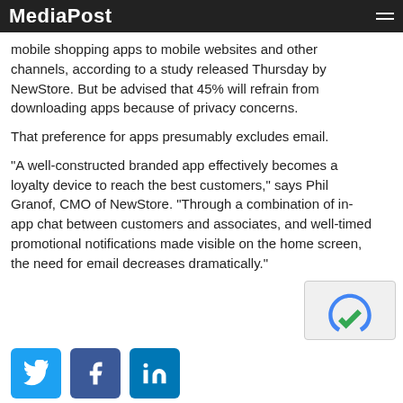MediaPost
mobile shopping apps to mobile websites and other channels, according to a study released Thursday by NewStore. But be advised that 45% will refrain from downloading apps because of privacy concerns.
That preference for apps presumably excludes email.
"A well-constructed branded app effectively becomes a loyalty device to reach the best customers," says Phil Granof, CMO of NewStore. "Through a combination of in-app chat between customers and associates, and well-timed promotional notifications made visible on the home screen, the need for email decreases dramatically."
[Figure (logo): reCAPTCHA logo/widget]
[Figure (other): Social media share buttons: Twitter, Facebook, LinkedIn]